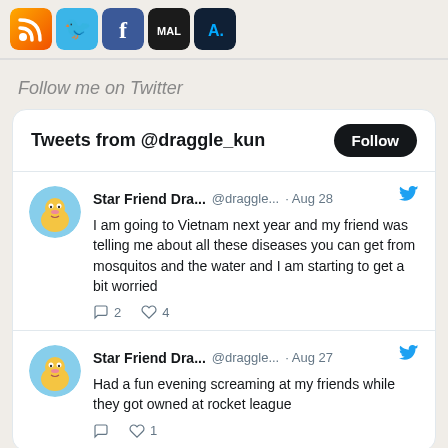[Figure (illustration): Row of social media icons: RSS (orange), Twitter bird (blue), Facebook (blue f), MyAnimeList (MAL dark), AniList (AL dark blue)]
Follow me on Twitter
Tweets from @draggle_kun
Star Friend Dra... @draggle... · Aug 28
I am going to Vietnam next year and my friend was telling me about all these diseases you can get from mosquitos and the water and I am starting to get a bit worried
♡ 2  ♡ 4
Star Friend Dra... @draggle... · Aug 27
Had a fun evening screaming at my friends while they got owned at rocket league
♡  ♡ 1